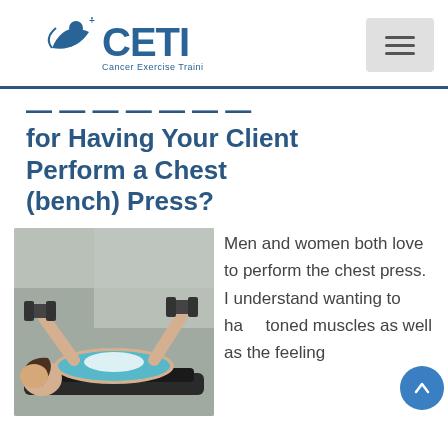CETI — Cancer Exercise Training Institute
What is Your Reason for Having Your Client Perform a Chest (bench) Press?
[Figure (photo): Woman lying on a weight bench performing a chest press with dumbbells in a gym setting.]
Men and women both love to perform the chest press. I understand wanting to have toned muscles as well as the feeling